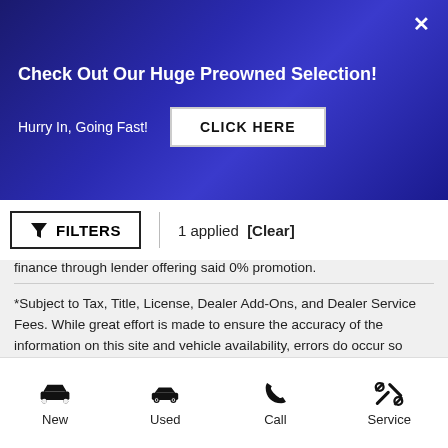Check Out Our Huge Preowned Selection!
Hurry In, Going Fast!
CLICK HERE
▼ FILTERS  |  1 applied  [Clear]
finance through lender offering said 0% promotion.
*Subject to Tax, Title, License, Dealer Add-Ons, and Dealer Service Fees. While great effort is made to ensure the accuracy of the information on this site and vehicle availability, errors do occur so please verify information with a customer care representative. This is easily done by calling us at (262) 612-2710 or by visiting us at the dealership.
New
Used
Call
Service